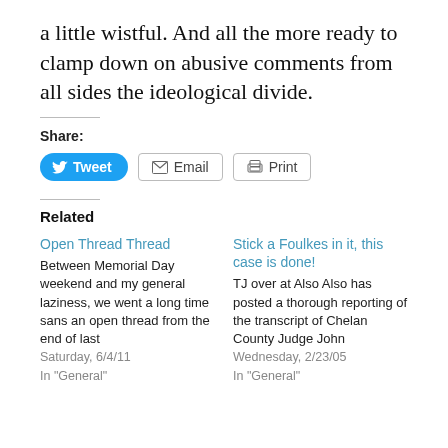a little wistful. And all the more ready to clamp down on abusive comments from all sides the ideological divide.
Share:
[Figure (screenshot): Share buttons: Tweet (blue), Email (outlined), Print (outlined)]
Related
Open Thread Thread
Between Memorial Day weekend and my general laziness, we went a long time sans an open thread from the end of last
Saturday, 6/4/11
In "General"
Stick a Foulkes in it, this case is done!
TJ over at Also Also has posted a thorough reporting of the transcript of Chelan County Judge John
Wednesday, 2/23/05
In "General"